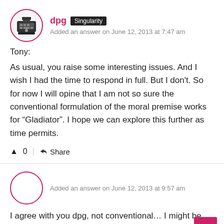dpg | Singularity | Added an answer on June 12, 2013 at 7:47 am
Tony:
As usual, you raise some interesting issues. And I wish I had the time to respond in full. But I don't. So for now I will opine that I am not so sure the conventional formulation of the moral premise works for “Gladiator”. I hope we can explore this further as time permits.
▲ 0 | Share
Added an answer on June 12, 2013 at 9:57 am
I agree with you dpg, not conventional… I might be doing what